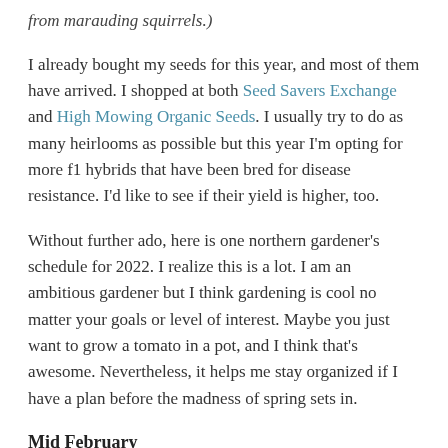from marauding squirrels.)
I already bought my seeds for this year, and most of them have arrived. I shopped at both Seed Savers Exchange and High Mowing Organic Seeds. I usually try to do as many heirlooms as possible but this year I'm opting for more f1 hybrids that have been bred for disease resistance. I'd like to see if their yield is higher, too.
Without further ado, here is one northern gardener's schedule for 2022. I realize this is a lot. I am an ambitious gardener but I think gardening is cool no matter your goals or level of interest. Maybe you just want to grow a tomato in a pot, and I think that's awesome. Nevertheless, it helps me stay organized if I have a plan before the madness of spring sets in.
Mid February
Start leeks indoors inside – DONE!